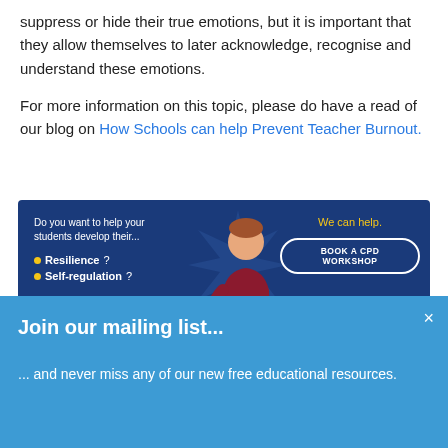suppress or hide their true emotions, but it is important that they allow themselves to later acknowledge, recognise and understand these emotions.
For more information on this topic, please do have a read of our blog on How Schools can help Prevent Teacher Burnout.
[Figure (infographic): Dark blue banner ad with text: 'Do you want to help your students develop their...' with bullet points for Resilience? and Self-regulation?, a cartoon illustration of a student, yellow text 'We can help.' and a button 'BOOK A CPD WORKSHOP']
[Figure (infographic): Light blue modal/popup banner: 'Join our mailing list...' with subtitle '... and never miss any of our new free educational resources.' and an X close button]